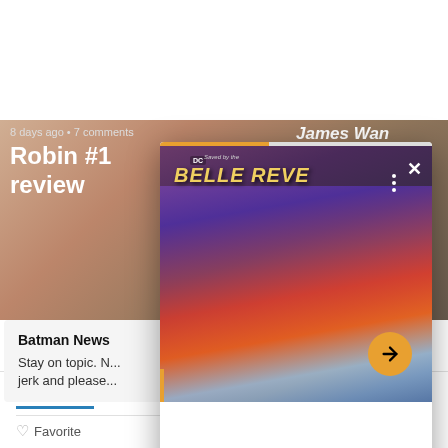[Figure (screenshot): Screenshot of a comic review website showing a card for 'Robin #1 review' with background image, overlaid by a popup card showing 'Belle Reve' DC comic book cover image with progress bar, close button, and navigation arrow]
8 days ago • 7 comments
Robin #1 review
James Wan
Belle Reve
Batman News
Stay on topic. N... jerk and please...
Comments
Community
Login ▼
♡ Favorite
Sort by Oldest ▼